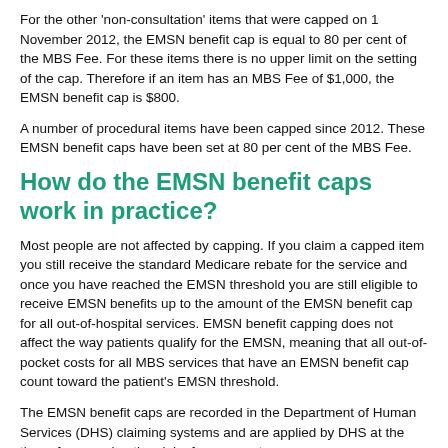For the other 'non-consultation' items that were capped on 1 November 2012, the EMSN benefit cap is equal to 80 per cent of the MBS Fee. For these items there is no upper limit on the setting of the cap. Therefore if an item has an MBS Fee of $1,000, the EMSN benefit cap is $800.
A number of procedural items have been capped since 2012. These EMSN benefit caps have been set at 80 per cent of the MBS Fee.
How do the EMSN benefit caps work in practice?
Most people are not affected by capping. If you claim a capped item you still receive the standard Medicare rebate for the service and once you have reached the EMSN threshold you are still eligible to receive EMSN benefits up to the amount of the EMSN benefit cap for all out-of-hospital services. EMSN benefit capping does not affect the way patients qualify for the EMSN, meaning that all out-of-pocket costs for all MBS services that have an EMSN benefit cap count toward the patient's EMSN threshold.
The EMSN benefit caps are recorded in the Department of Human Services (DHS) claiming systems and are applied by DHS at the time of processing the claim for payment.